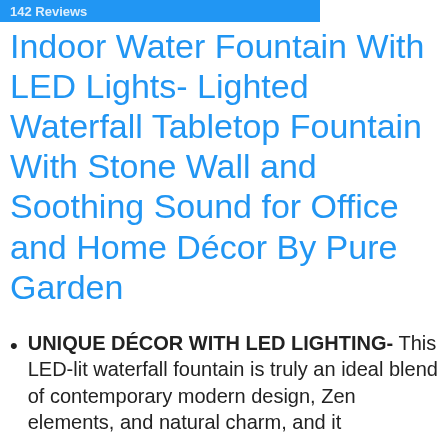142 Reviews
Indoor Water Fountain With LED Lights- Lighted Waterfall Tabletop Fountain With Stone Wall and Soothing Sound for Office and Home Décor By Pure Garden
UNIQUE DÉCOR WITH LED LIGHTING- This LED-lit waterfall fountain is truly an ideal blend of contemporary modern design, Zen elements, and natural charm, and it